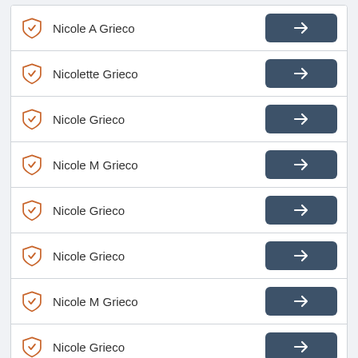Nicole A Grieco
Nicolette Grieco
Nicole Grieco
Nicole M Grieco
Nicole Grieco
Nicole Grieco
Nicole M Grieco
Nicole Grieco